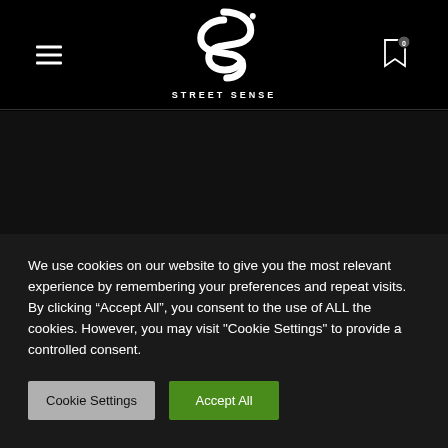[Figure (logo): Street Sense logo: stylized 'SS' letters in white on black background with 'STREET SENSE' text below]
[Figure (other): Black dark content area below the navigation header]
We use cookies on our website to give you the most relevant experience by remembering your preferences and repeat visits. By clicking “Accept All”, you consent to the use of ALL the cookies. However, you may visit "Cookie Settings" to provide a controlled consent.
Cookie Settings
Accept All